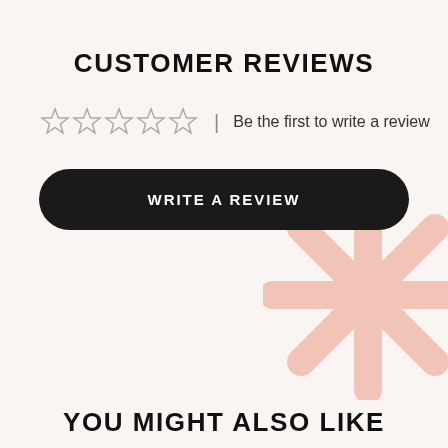CUSTOMER REVIEWS
[Figure (other): Five empty star rating icons followed by a vertical divider and text 'Be the first to write a review']
WRITE A REVIEW
[Figure (illustration): Decorative pink starburst/asterisk shape in bottom-right corner]
YOU MIGHT ALSO LIKE